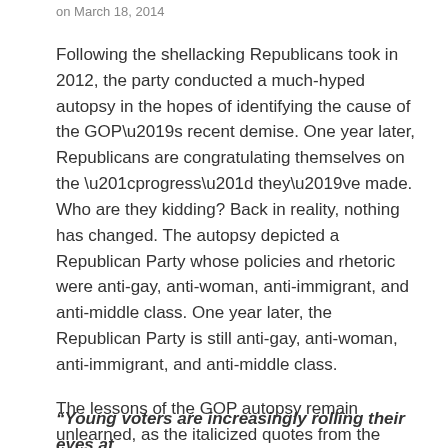on March 18, 2014
Following the shellacking Republicans took in 2012, the party conducted a much-hyped autopsy in the hopes of identifying the cause of the GOP’s recent demise. One year later, Republicans are congratulating themselves on the “progress” they’ve made. Who are they kidding? Back in reality, nothing has changed. The autopsy depicted a Republican Party whose policies and rhetoric were anti-gay, anti-woman, anti-immigrant, and anti-middle class. One year later, the Republican Party is still anti-gay, anti-woman, anti-immigrant, and anti-middle class.
The lessons of the GOP autopsy remain unlearned, as the italicized quotes from the GOP “Growth & Opportunity Project” report from March 18, 2013 emphasize.
“Young voters are increasingly rolling their eyes at